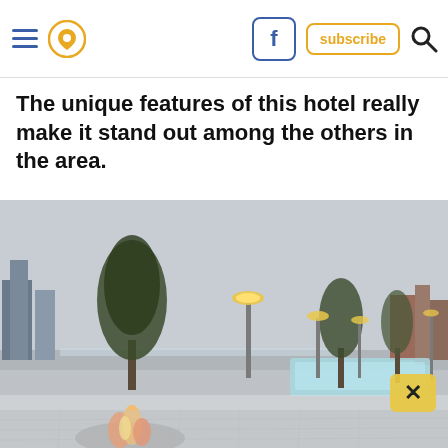Navigation header with hamburger menu, location pin icon, Facebook button, subscribe button, and search icon
The unique features of this hotel really make it stand out among the others in the area.
[Figure (photo): Rooftop terrace of a hotel with an outdoor pool, fire pit, tall trees, lamp posts, and city skyline in the background under cloudy skies. A small yellow X close button overlay is visible on the right side of the image.]